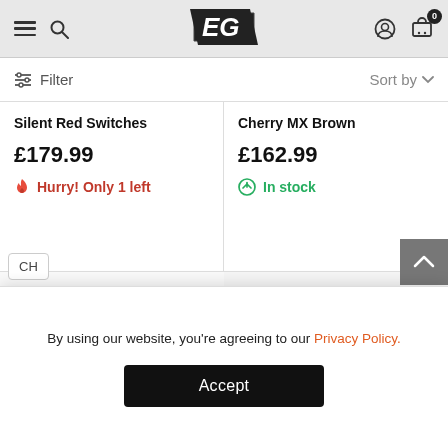EG — navigation header with menu, search, logo, account and cart icons
Filter | Sort by
Silent Red Switches
£179.99
Hurry! Only 1 left
Cherry MX Brown
£162.99
In stock
[Figure (photo): Pink and navy blue mechanical keyboard (lower left product cell)]
[Figure (photo): Grey mechanical keyboard (lower right product cell)]
By using our website, you're agreeing to our Privacy Policy.
Accept